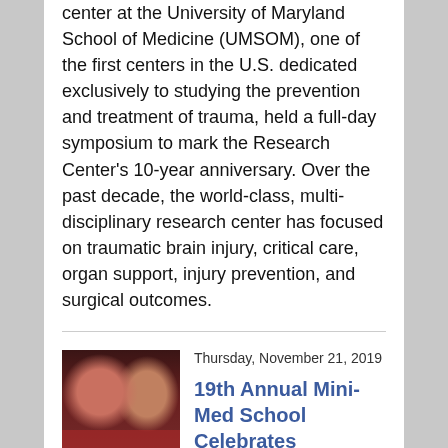center at the University of Maryland School of Medicine (UMSOM), one of the first centers in the U.S. dedicated exclusively to studying the prevention and treatment of trauma, held a full-day symposium to mark the Research Center's 10-year anniversary. Over the past decade, the world-class, multi-disciplinary research center has focused on traumatic brain injury, critical care, organ support, injury prevention, and surgical outcomes.
Thursday, November 21, 2019
[Figure (photo): Two smiling graduates in red shirts holding certificates at a graduation ceremony with a crowd in the background]
19th Annual Mini-Med School Celebrates Graduation